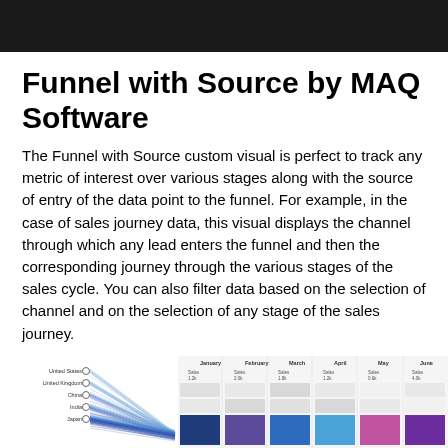Funnel with Source by MAQ Software
The Funnel with Source custom visual is perfect to track any metric of interest over various stages along with the source of entry of the data point to the funnel. For example, in the case of sales journey data, this visual displays the channel through which any lead enters the funnel and then the corresponding journey through the various stages of the sales cycle. You can also filter data based on the selection of channel and on the selection of any stage of the sales journey.
[Figure (infographic): Funnel with Source visual showing countries (United States, United Kingdom, China, India, Japan) on the left with fan-shaped lines converging to a funnel, feeding into a table/matrix with columns for January, February, March, April, May, June showing Sales values. The bottom row has colored bars in dark blue, medium blue, blue, light blue, pink/magenta, and purple.]